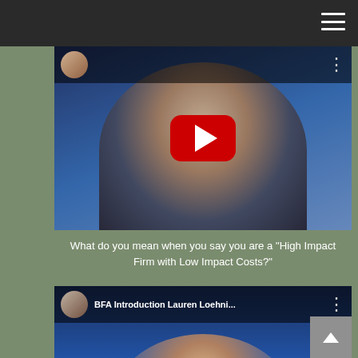[Figure (screenshot): Dark navigation bar with hamburger menu icon in top right corner]
[Figure (screenshot): YouTube video thumbnail showing a man in a blue shirt against a blue background with a red YouTube play button overlay]
What do you mean when you say you are a "High Impact Firm with Low Impact Costs?"
[Figure (screenshot): YouTube video thumbnail showing BFA Introduction Lauren Loehni... with a woman with blonde hair and glasses, with a red YouTube play button overlay]